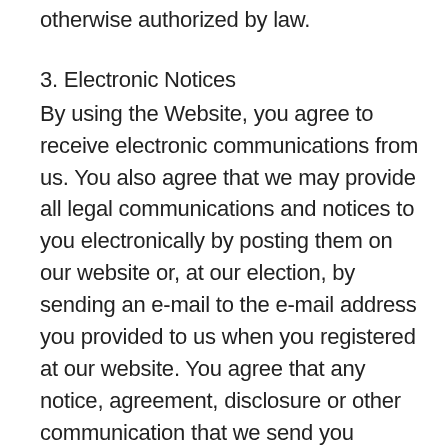otherwise authorized by law.
3. Electronic Notices
By using the Website, you agree to receive electronic communications from us. You also agree that we may provide all legal communications and notices to you electronically by posting them on our website or, at our election, by sending an e-mail to the e-mail address you provided to us when you registered at our website. You agree that any notice, agreement, disclosure or other communication that we send you electronically will satisfy any legal communication requirements, including that such communications